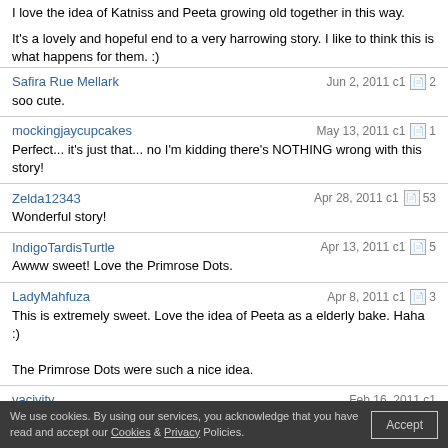I love the idea of Katniss and Peeta growing old together in this way.
It's a lovely and hopeful end to a very harrowing story. I like to think this is what happens for them. :)
Safira Rue Mellark | Jun 2, 2011 c1 | 2 | soo cute.
mockingjaycupcakes | May 13, 2011 c1 | 1 | Perfect... it's just that... no I'm kidding there's NOTHING wrong with this story!
Zelda12343 | Apr 28, 2011 c1 | 53 | Wonderful story!
IndigoTardisTurtle | Apr 13, 2011 c1 | 5 | Awww sweet! Love the Primrose Dots.
LadyMahfuza | Apr 8, 2011 c1 | 3 | This is extremely sweet. Love the idea of Peeta as a elderly bake. Haha :)

The Primrose Dots were such a nice idea.
vacivity | Feb 16, 2011 c1 | Absolutely amazing.
We use cookies. By using our services, you acknowledge that you have read and accept our Cookies & Privacy Policies. [Accept]